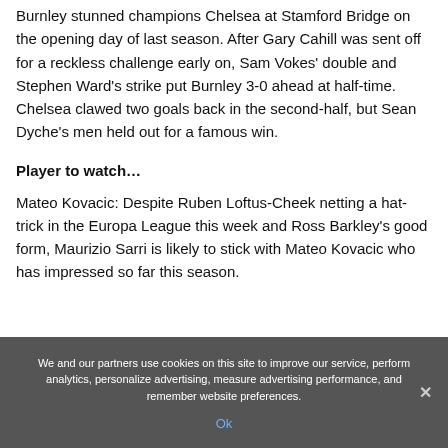Burnley stunned champions Chelsea at Stamford Bridge on the opening day of last season. After Gary Cahill was sent off for a reckless challenge early on, Sam Vokes' double and Stephen Ward's strike put Burnley 3-0 ahead at half-time. Chelsea clawed two goals back in the second-half, but Sean Dyche's men held out for a famous win.
Player to watch…
Mateo Kovacic: Despite Ruben Loftus-Cheek netting a hat-trick in the Europa League this week and Ross Barkley's good form, Maurizio Sarri is likely to stick with Mateo Kovacic who has impressed so far this season.
We and our partners use cookies on this site to improve our service, perform analytics, personalize advertising, measure advertising performance, and remember website preferences.